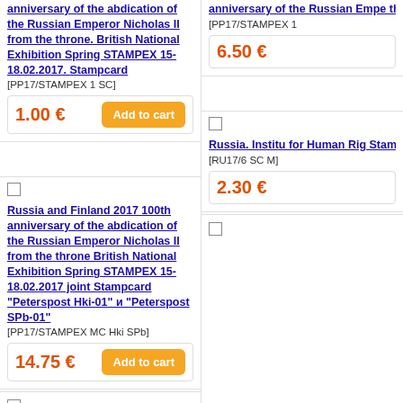anniversary of the abdication of the Russian Emperor Nicholas II from the throne. British National Exhibition Spring STAMPEX 15-18.02.2017. Stampcard [PP17/STAMPEX 1 SC]
1.00 €
Add to cart
anniversary of the Russian Emperor throne. British Spring STAMP Stampcard "P [PP17/STAMPEX 1
6.50 €
Russia and Finland 2017 100th anniversary of the abdication of the Russian Emperor Nicholas II from the throne British National Exhibition Spring STAMPEX 15-18.02.2017 joint Stampcard "Peterspost Hki-01" и "Peterspost SPb-01" [PP17/STAMPEX MC Hki SPb]
14.75 €
Add to cart
Russia. Institute for Human Rights Stampcard "M [RU17/6 SC M]
2.30 €